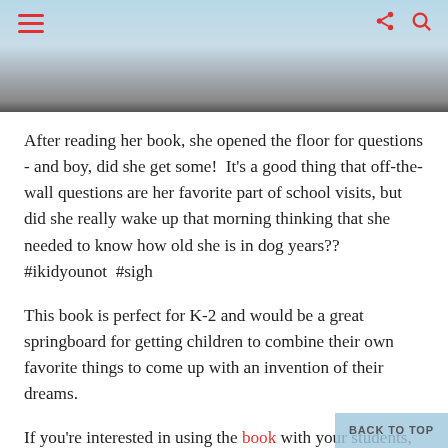[Figure (photo): Header image showing a blurred background scene with a hamburger menu icon on the left and share/search icons on the top right in red.]
After reading her book, she opened the floor for questions - and boy, did she get some!  It's a good thing that off-the-wall questions are her favorite part of school visits, but did she really wake up that morning thinking that she needed to know how old she is in dog years??  #ikidyounot  #sigh
This book is perfect for K-2 and would be a great springboard for getting children to combine their own favorite things to come up with an invention of their dreams.
If you're interested in using the book with your students, I've created a little planning page to help them